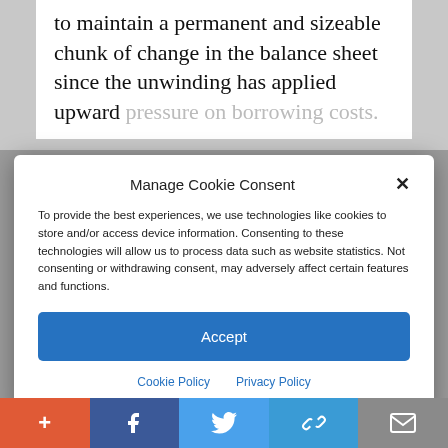to maintain a permanent and sizeable chunk of change in the balance sheet since the unwinding has applied upward pressure on borrowing costs.
Manage Cookie Consent
To provide the best experiences, we use technologies like cookies to store and/or access device information. Consenting to these technologies will allow us to process data such as website statistics. Not consenting or withdrawing consent, may adversely affect certain features and functions.
Accept
Cookie Policy  Privacy Policy
two rate decreases this year. Powell seemingly rejected the premise of
+ f [twitter] [link] [mail]